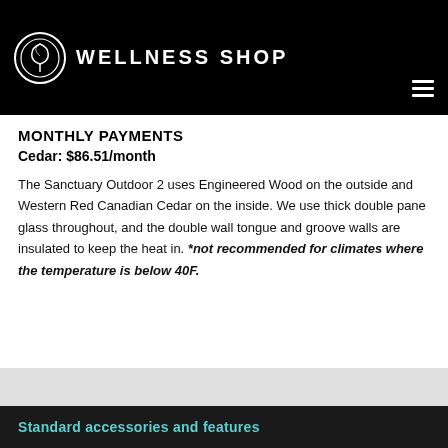WELLNESS SHOP
MONTHLY PAYMENTS
Cedar: $86.51/month
The Sanctuary Outdoor 2 uses Engineered Wood on the outside and Western Red Canadian Cedar on the inside. We use thick double pane glass throughout, and the double wall tongue and groove walls are insulated to keep the heat in. *not recommended for climates where the temperature is below 40F.